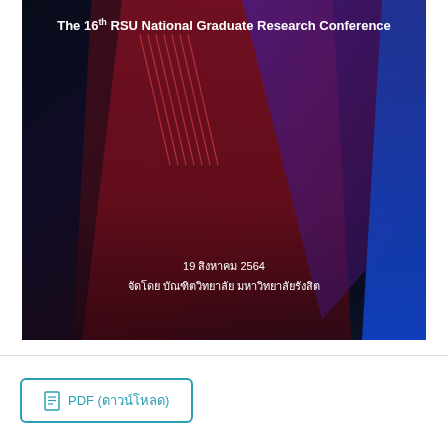[Figure (illustration): Conference banner image with dark blue, maroon/red, and purple diagonal geometric shapes and diagonal lines decorative elements. Text overlay shows conference title and date.]
The 16th RSU National Graduate Research Conference
19 สิงหาคม 2564
จัดโดย บัณฑิตวิทยาลัย มหาวิทยาลัยรังสิต
PDF (ดาวน์โหลด)